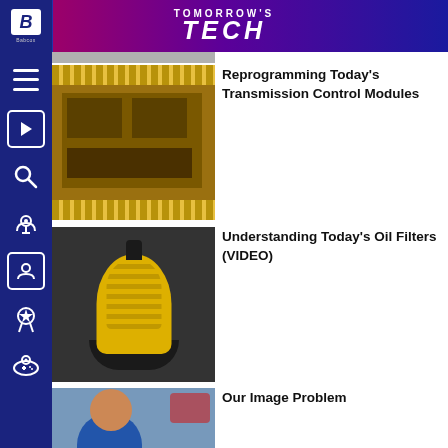TOMORROW'S TECH
[Figure (screenshot): Navigation sidebar with icons: hamburger menu, video play button, search, podcast/broadcast, user profile, award/badge, game controller]
[Figure (photo): Close-up of a circuit board / transmission control module with gold contacts and chips]
Reprogramming Today's Transmission Control Modules
[Figure (photo): Close-up of a yellow cylindrical oil filter element held in a hand, black base visible]
Understanding Today's Oil Filters (VIDEO)
[Figure (photo): Auto mechanic in blue uniform smiling at camera in a shop with a vehicle on a lift in the background]
Our Image Problem